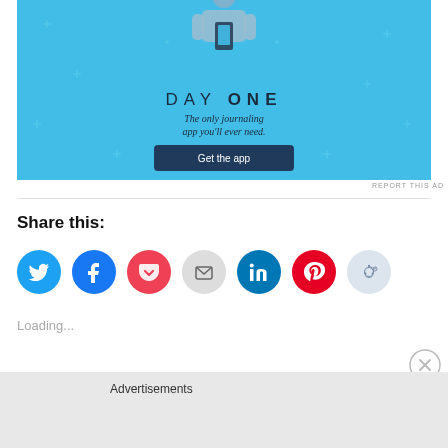[Figure (illustration): Day One journaling app advertisement banner with light blue background, sparkle decorations, person holding a phone illustration at the top, 'DAY ONE' title, tagline 'The only journaling app you'll ever need.', and a dark blue 'Get the app' button]
REPORT THIS AD
Share this:
[Figure (infographic): Row of seven circular social share buttons: Twitter (blue), Facebook (blue), Pocket (red), Email (gray), LinkedIn (dark blue), Pinterest (red), Reddit (light blue/gray)]
Loading...
Advertisements